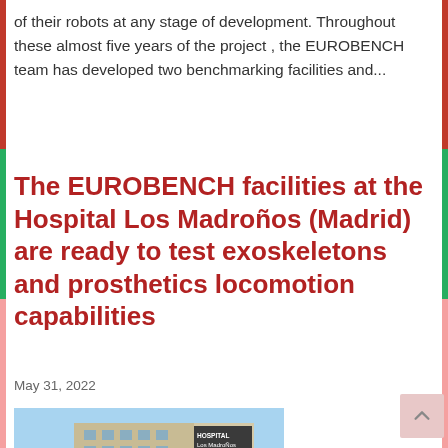of their robots at any stage of development. Throughout these almost five years of the project , the EUROBENCH team has developed two benchmarking facilities and...
The EUROBENCH facilities at the Hospital Los Madroños (Madrid) are ready to test exoskeletons and prosthetics locomotion capabilities
May 31, 2022
[Figure (photo): Exterior photo of Hospital Los Madroños building showing sign with hospital name and Neuroscience - HLM signage]